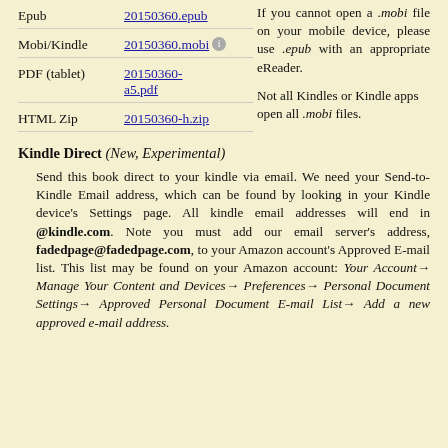| Format | Link | Note |
| --- | --- | --- |
| Epub | 20150360.epub | If you cannot open a .mobi file on your mobile device, please use .epub with an appropriate eReader. |
| Mobi/Kindle | 20150360.mobi | Not all Kindles or Kindle apps open all .mobi files. |
| PDF (tablet) | 20150360-a5.pdf |  |
| HTML Zip | 20150360-h.zip |  |
Kindle Direct (New, Experimental)
Send this book direct to your kindle via email. We need your Send-to-Kindle Email address, which can be found by looking in your Kindle device’s Settings page. All kindle email addresses will end in @kindle.com. Note you must add our email server’s address, fadedpage@fadedpage.com, to your Amazon account’s Approved E-mail list. This list may be found on your Amazon account: Your Account→ Manage Your Content and Devices→ Preferences→ Personal Document Settings→ Approved Personal Document E-mail List→ Add a new approved e-mail address.